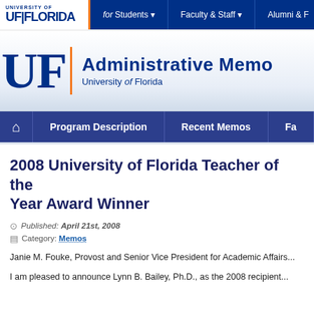[Figure (logo): University of Florida logo with UF letters and nav bar with Students, Faculty & Staff, Alumni & F... links]
Administrative Memo — University of Florida
Program Description | Recent Memos | F...
2008 University of Florida Teacher of the Year Award Winner
Published: April 21st, 2008
Category: Memos
Janie M. Fouke, Provost and Senior Vice President for Academic Affairs...
I am pleased to announce Lynn B. Bailey, Ph.D., as the 2008 recipient...